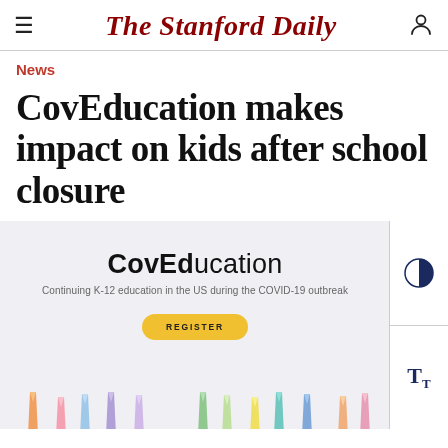The Stanford Daily
News
CovEducation makes impact on kids after school closure
[Figure (screenshot): Screenshot of the CovEducation website showing the logo 'CovEducation', tagline 'Continuing K-12 education in the US during the COVID-19 outbreak', a yellow REGISTER button, and colorful pencils at the bottom. A right-side toolbar shows contrast and text size controls.]